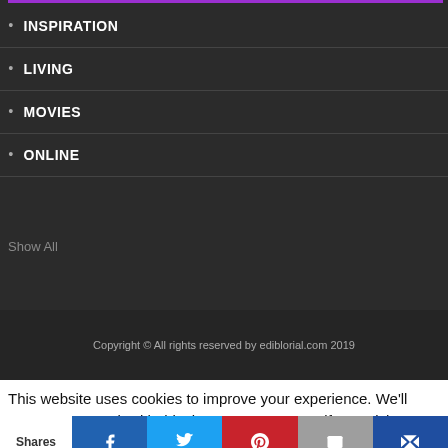INSPIRATION
LIVING
MOVIES
ONLINE
Show All
Copyright © All rights reserved by ediblorial.com 2019
This website uses cookies to improve your experience. We'll assume you're ok with this, but you can opt-out if you wish.
Shares